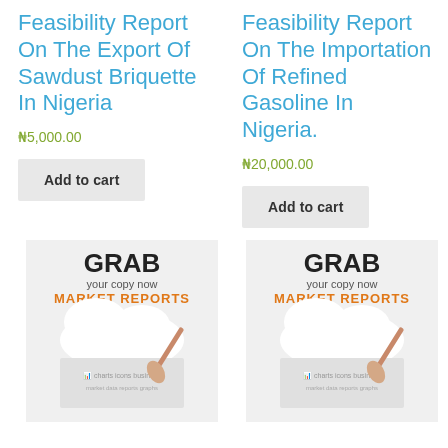Feasibility Report On The Export Of Sawdust Briquette In Nigeria
₦5,000.00
Add to cart
Feasibility Report On The Importation Of Refined Gasoline In Nigeria.
₦20,000.00
Add to cart
[Figure (illustration): GRAB your copy now MARKET REPORTS promotional image with cloud and business icons]
[Figure (illustration): GRAB your copy now MARKET REPORTS promotional image with cloud and business icons]